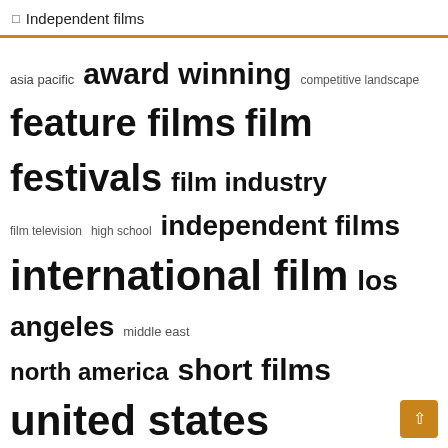Independent films
[Figure (infographic): Word cloud with film-related tags in varying font sizes: asia pacific, award winning, competitive landscape, feature films, film festivals, film industry, film television, high school, independent films, international film, los angeles, middle east, north america, short films, united states]
Recent Posts
What Are Fast Payday Loans Commonly Used For?
'Corsage', 'Godland' among London Film Festival competition titles
Rotten Tomatoes Expands Outreach and Critics Grants Program, Beginning at TIFF 2022
Film Independent Spirit Awards move to gender-neutral acting categories